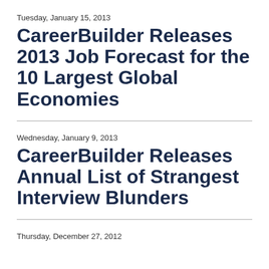Tuesday, January 15, 2013
CareerBuilder Releases 2013 Job Forecast for the 10 Largest Global Economies
Wednesday, January 9, 2013
CareerBuilder Releases Annual List of Strangest Interview Blunders
Thursday, December 27, 2012